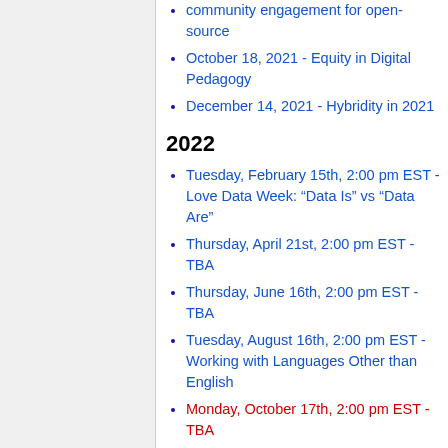community engagement for open-source
October 18, 2021 - Equity in Digital Pedagogy
December 14, 2021 - Hybridity in 2021
2022
Tuesday, February 15th, 2:00 pm EST - Love Data Week: “Data Is” vs “Data Are”
Thursday, April 21st, 2:00 pm EST - TBA
Thursday, June 16th, 2:00 pm EST - TBA
Tuesday, August 16th, 2:00 pm EST - Working with Languages Other than English
Monday, October 17th, 2:00 pm EST - TBA